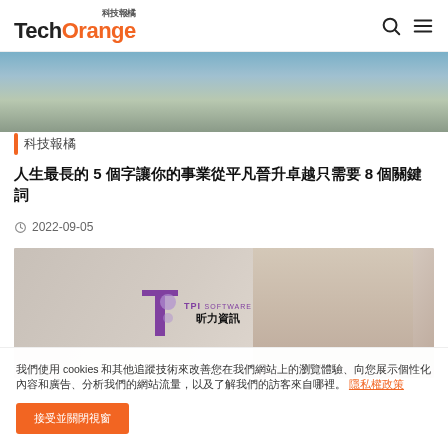TechOrange 科技報橘
[Figure (photo): Top partial image showing blue-clothed figures on wooden floor background]
科技報橘
人生最長的 5 個字讓你的事業從平凡晉升卓越只需要 8 個關鍵詞
2022-09-05
[Figure (photo): TPI SOFTWARE 昕力資訊 logo with a man in suit standing in front of corporate backdrop]
我們使用 cookies 和其他追蹤技術來改善您在我們網站上的瀏覽體驗、向您展示個性化內容和廣告、分析我們的網站流量，以及了解我們的訪客來自哪裡。 隱私權政策
接受並關閉視窗